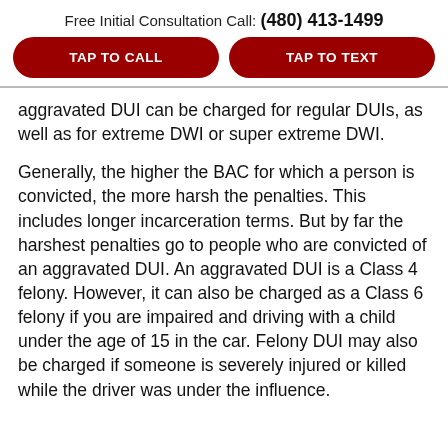Free Initial Consultation Call: (480) 413-1499
TAP TO CALL
TAP TO TEXT
aggravated DUI can be charged for regular DUIs, as well as for extreme DWI or super extreme DWI.
Generally, the higher the BAC for which a person is convicted, the more harsh the penalties. This includes longer incarceration terms. But by far the harshest penalties go to people who are convicted of an aggravated DUI. An aggravated DUI is a Class 4 felony. However, it can also be charged as a Class 6 felony if you are impaired and driving with a child under the age of 15 in the car. Felony DUI may also be charged if someone is severely injured or killed while the driver was under the influence.